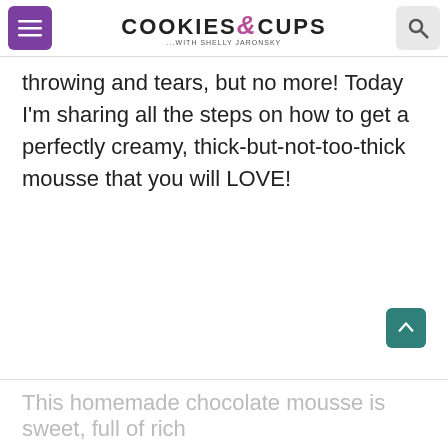COOKIES & CUPS — with Shelly Jaronsky
throwing and tears, but no more! Today I'm sharing all the steps on how to get a perfectly creamy, thick-but-not-too-thick mousse that you will LOVE!
This homemade chocolate mousse is sweet, full of rich